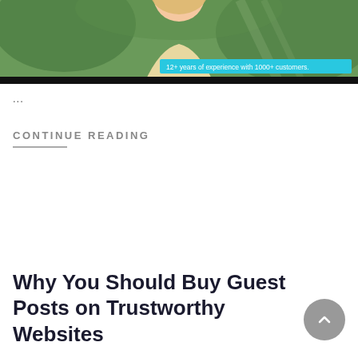[Figure (photo): Photo of a smiling woman with blonde hair outdoors with greenery background, with a teal badge overlay reading '12+ years of experience with 1000+ customers.']
...
CONTINUE READING
Why You Should Buy Guest Posts on Trustworthy Websites